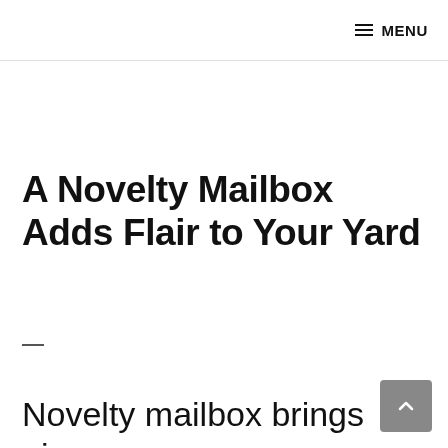≡ MENU
A Novelty Mailbox Adds Flair to Your Yard
—
Novelty mailbox brings pizzaz